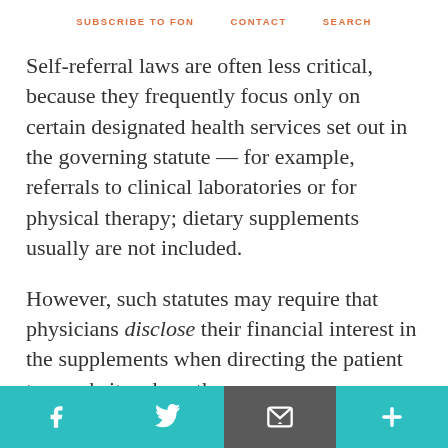SUBSCRIBE TO FON   CONTACT   SEARCH
Self-referral laws are often less critical, because they frequently focus only on certain designated health services set out in the governing statute — for example, referrals to clinical laboratories or for physical therapy; dietary supplements usually are not included.
However, such statutes may require that physicians disclose their financial interest in the supplements when directing the patient to a website where the
f  [twitter]  [email]  +